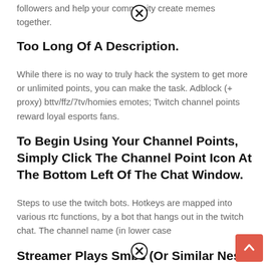followers and help your community create memes together.
Too Long Of A Description.
While there is no way to truly hack the system to get more or unlimited points, you can make the task. Adblock (+ proxy) bttv/ffz/7tv/homies emotes; Twitch channel points reward loyal esports fans.
To Begin Using Your Channel Points, Simply Click The Channel Point Icon At The Bottom Left Of The Chat Window.
Steps to use the twitch bots. Hotkeys are mapped into various rtc functions, by a bot that hangs out in the twitch chat. The channel name (in lower case
Streamer Plays Smb3 (Or Similar Nes Game) Makes The Bots And Ti...